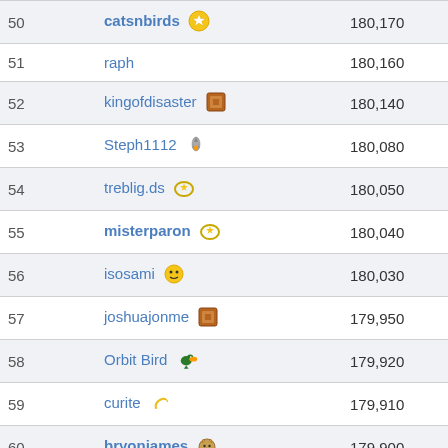| Rank | Username | Score |
| --- | --- | --- |
| 50 | catsnbirds 🏅 | 180,170 |
| 51 | raph | 180,160 |
| 52 | kingofdisaster 🎖 | 180,140 |
| 53 | Steph1112 🚀 | 180,080 |
| 54 | treblig.ds 🌟 | 180,050 |
| 55 | misterparon 🌟 | 180,040 |
| 56 | isosami 🌕 | 180,030 |
| 57 | joshuajonme 🎖 | 179,950 |
| 58 | Orbit Bird 🦅 | 179,920 |
| 59 | curite 🐦 | 179,910 |
| 60 | bryonjames 🐱 | 179,900 |
| 61 | Mumbler63 🏅 | 179,860 |